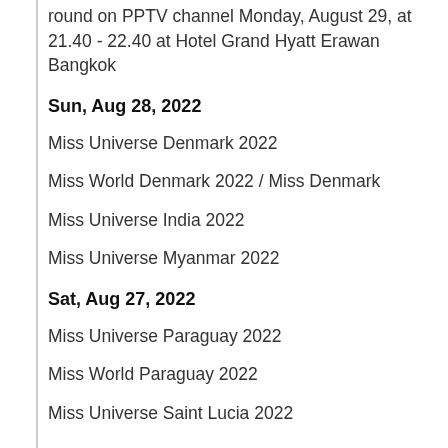round on PPTV channel Monday, August 29, at 21.40 - 22.40 at Hotel Grand Hyatt Erawan Bangkok
Sun, Aug 28, 2022
Miss Universe Denmark 2022
Miss World Denmark 2022 / Miss Denmark
Miss Universe India 2022
Miss Universe Myanmar 2022
Sat, Aug 27, 2022
Miss Universe Paraguay 2022
Miss World Paraguay 2022
Miss Universe Saint Lucia 2022